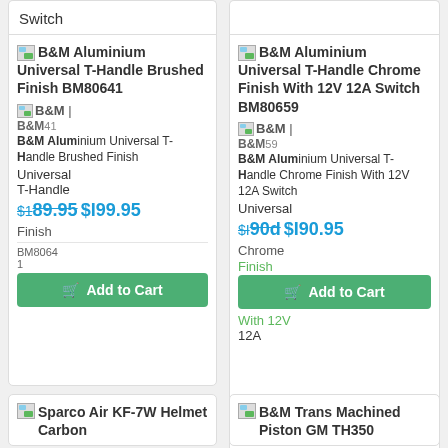Switch
B&M Aluminium Universal T-Handle Brushed Finish BM80641
B&M | B&M 41 B&M Aluminium Universal T-Handle Brushed Finish Universal T-Handle $189.95 $199.95 Finish BM80641
Add to Cart
B&M Aluminium Universal T-Handle Chrome Finish With 12V 12A Switch BM80659
B&M | B&M 59 B&M Aluminium Universal T-Handle Chrome Finish With 12V 12A Switch Universal Chrome Finish With 12V 12A $199.95 $190.95
Add to Cart
Sparco Air KF-7W Helmet Carbon
B&M Trans Machined Piston GM TH350